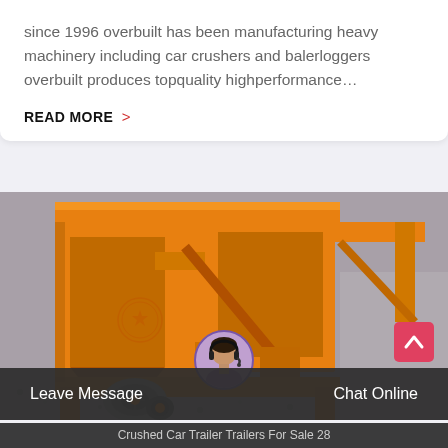since 1996 overbuilt has been manufacturing heavy machinery including car crushers and balerloggers overbuilt produces topquality highperformance...
READ MORE >
[Figure (photo): Close-up photo of orange heavy industrial machinery, appearing to be a car crusher or similar equipment, with metal frame structures, mechanical components, a motor/pulley assembly at the bottom left, mounted on what appears to be a gravel surface.]
Leave Message
Chat Online
Crushed Car Trailer Trailers For Sale 28